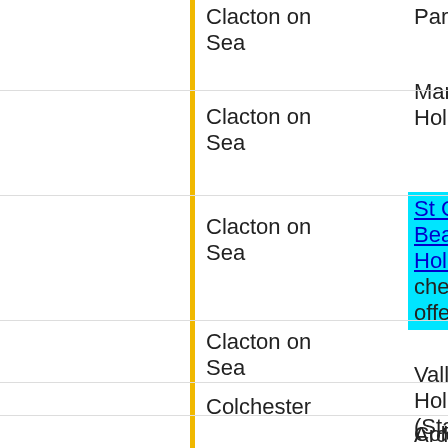| Location | Venue |
| --- | --- |
| Clacton on Sea | Park |
| Clacton on Sea | Martello Holiday |
| Clacton on Sea | St C Beach Holiday - check offers! |
| Clacton on Sea | Valley F Holiday (Statics |
| Colchester | Ardleigh Caravan Camping |
| Colchester | Colches Holiday |
| Colchester | Mersea Holiday (Lodges Statics - See the offers fr Merso |